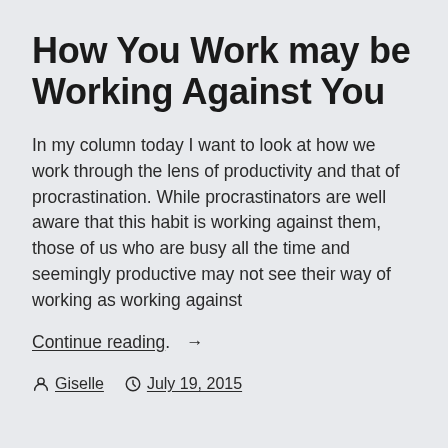How You Work may be Working Against You
In my column today I want to look at how we work through the lens of productivity and that of procrastination. While procrastinators are well aware that this habit is working against them, those of us who are busy all the time and seemingly productive may not see their way of working as working against
Continue reading  →
Giselle   July 19, 2015